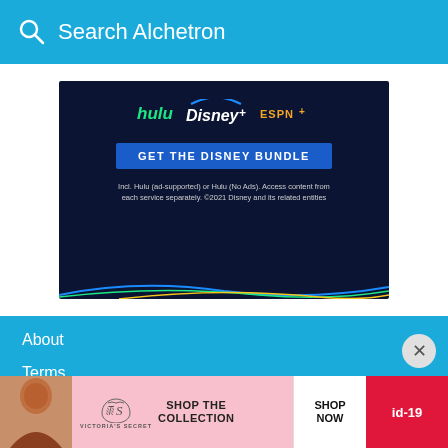Search Alchetron
[Figure (screenshot): Disney Bundle advertisement showing Hulu, Disney+, and ESPN+ logos with 'GET THE DISNEY BUNDLE' button and disclaimer text]
About
Terms
Privacy
Contact
Alchetr... © 2020
[Figure (screenshot): Victoria's Secret advertisement showing model and 'SHOP THE COLLECTION' with 'SHOP NOW' button and red badge showing 'id-19']